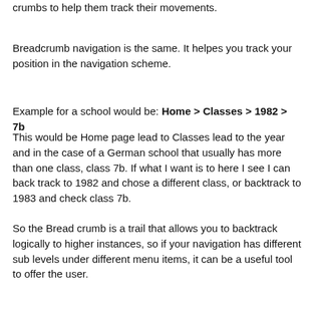crumbs to help them track their movements.
Breadcrumb navigation is the same. It helpes you track your position in the navigation scheme.
Example for a school would be: Home > Classes > 1982 > 7b
This would be Home page lead to Classes lead to the year and in the case of a German school that usually has more than one class, class 7b. If what I want is to here I see I can back track to 1982 and chose a different class, or backtrack to 1983 and check class 7b.
So the Bread crumb is a trail that allows you to backtrack logically to higher instances, so if your navigation has different sub levels under different menu items, it can be a useful tool to offer the user.